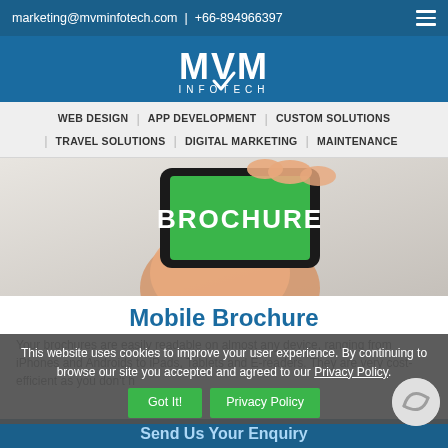marketing@mvminfotech.com | +66-894966397
[Figure (logo): MVM Infotech logo with white text on blue background]
WEB DESIGN | APP DEVELOPMENT | CUSTOM SOLUTIONS | TRAVEL SOLUTIONS | DIGITAL MARKETING | MAINTENANCE
[Figure (photo): Hand holding a smartphone displaying a green screen with the word BROCHURE in white text]
Mobile Brochure
Your brochures are easily readable on almost any device, ranging from iPhones and Androids to iPads, Tablets and E-readers. They are very cost-efficient as you don't h
This website uses cookies to improve your user experience. By continuing to browse our site you accepted and agreed to our Privacy Policy.
Send Us Your Enquiry